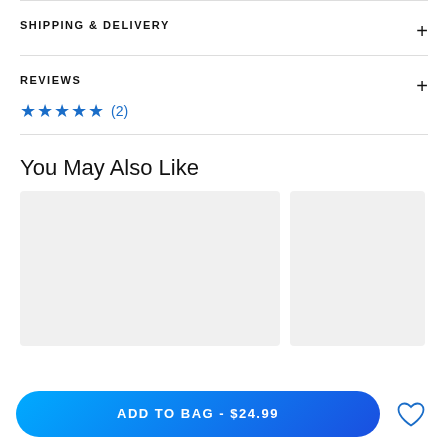SHIPPING & DELIVERY
REVIEWS
★★★★★ (2)
You May Also Like
[Figure (photo): Two product image placeholder boxes in a 'You May Also Like' recommendation section]
ADD TO BAG - $24.99